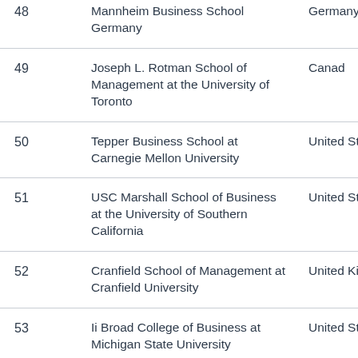| Rank | School | Country |
| --- | --- | --- |
| 48 | Mannheim Business School Germany | Germany |
| 49 | Joseph L. Rotman School of Management at the University of Toronto | Canad |
| 50 | Tepper Business School at Carnegie Mellon University | United States |
| 51 | USC Marshall School of Business at the University of Southern California | United States |
| 52 | Cranfield School of Management at Cranfield University | United Kingdom |
| 53 | Ii Broad College of Business at Michigan State University | United States |
| 54 | Olin Business School at the | United |